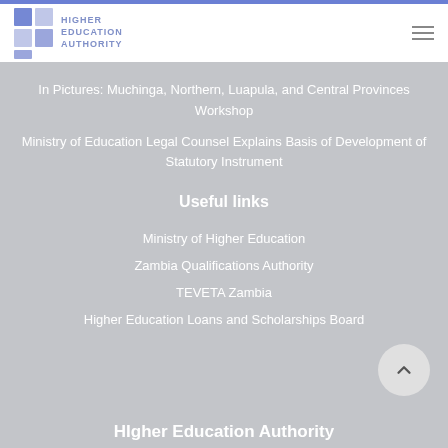[Figure (logo): Higher Education Authority logo with grid squares in blue/purple and text HIGHER EDUCATION AUTHORITY]
In Pictures: Muchinga, Northern, Luapula, and Central Provinces Workshop
Ministry of Education Legal Counsel Explains Basis of Development of Statutory Instrument
Useful links
Ministry of Higher Education
Zambia Qualifications Authority
TEVETA Zambia
Higher Education Loans and Scholarships Board
HIgher Education Authority